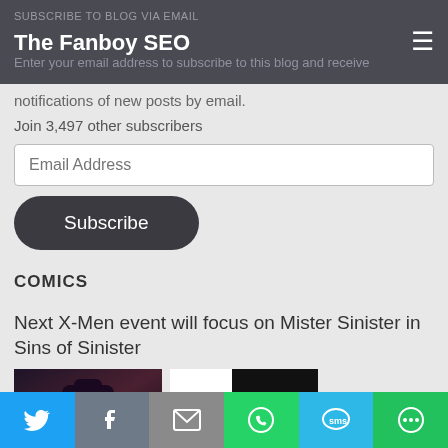SUBSCRIBE TO BLOG VIA EMAIL | The Fanboy SEO
Enter your email address to subscribe to this blog and receive notifications of new posts by email.
Join 3,497 other subscribers
Email Address
Subscribe
COMICS
Next X-Men event will focus on Mister Sinister in Sins of Sinister
[Figure (screenshot): Two images side by side: left shows an animated Mister Sinister character (villain with pale face, red diamond on forehead, dark costume), right shows a dark/black image with partial white area]
Share buttons: Twitter, Facebook, Email, WhatsApp, SMS, More